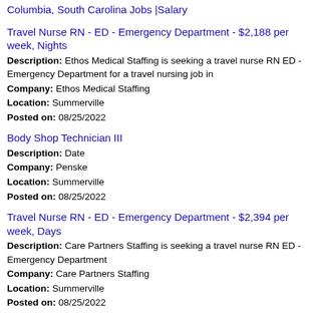Columbia, South Carolina Jobs |Salary
Travel Nurse RN - ED - Emergency Department - $2,188 per week, Nights
Description: Ethos Medical Staffing is seeking a travel nurse RN ED - Emergency Department for a travel nursing job in
Company: Ethos Medical Staffing
Location: Summerville
Posted on: 08/25/2022
Body Shop Technician III
Description: Date
Company: Penske
Location: Summerville
Posted on: 08/25/2022
Travel Nurse RN - ED - Emergency Department - $2,394 per week, Days
Description: Care Partners Staffing is seeking a travel nurse RN ED - Emergency Department
Company: Care Partners Staffing
Location: Summerville
Posted on: 08/25/2022